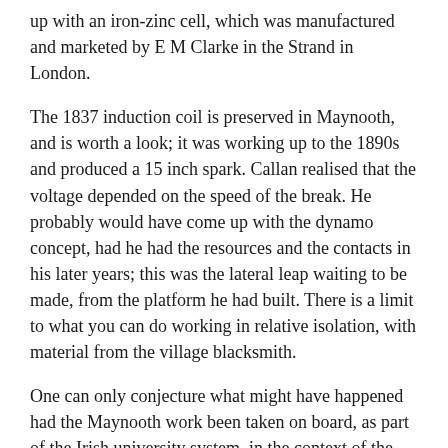up with an iron-zinc cell, which was manufactured and marketed by E M Clarke in the Strand in London.
The 1837 induction coil is preserved in Maynooth, and is worth a look; it was working up to the 1890s and produced a 15 inch spark. Callan realised that the voltage depended on the speed of the break. He probably would have come up with the dynamo concept, had he had the resources and the contacts in his later years; this was the lateral leap waiting to be made, from the platform he had built. There is a limit to what you can do working in relative isolation, with material from the village blacksmith.
One can only conjecture what might have happened had the Maynooth work been taken on board, as part of the Irish university system, in the context of the new Queens Colleges in the 1840s. Callan would have contributed substantially, along with Boole, Andrews, Larmor, Kane and numerous others to an Irish university system with a recognised place in the European scientific mainstream.